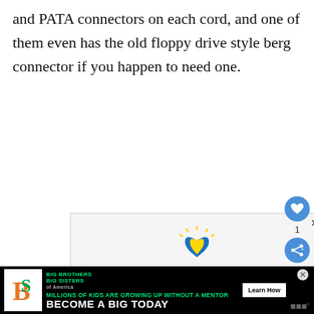and PATA connectors on each cord, and one of them even has the old floppy drive style berg connector if you happen to need one.
[Figure (illustration): Advertisement for Ukraine aid by Ad Council. Shows two hands cradling a heart with Ukrainian flag colors (blue and yellow), with rays above. Text: 'YOU CAN HELP UKRAINIANS IN NEED. Even small monetary donations can make a big difference.' Blue footer with 'Ad Council' logo and 'DONATE TODAY →' in yellow.]
[Figure (illustration): Bottom banner ad for Big Brothers Big Sisters. Black background with BBBS logo, green text 'MILLIONS OF KIDS ARE GROWING UP WITHOUT A MENTOR', white bold text 'BECOME A BIG TODAY', and white 'Learn How' button.]